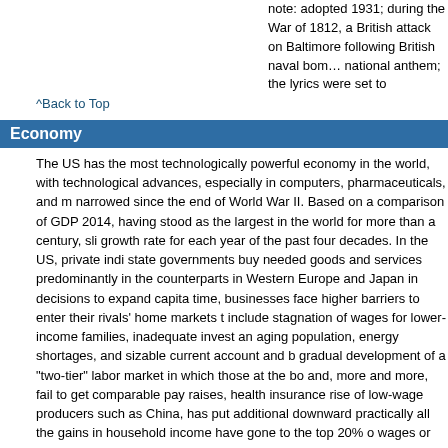note: adopted 1931; during the War of 1812, a British attack on Baltimore following British naval bombardment inspired the national anthem; the lyrics were set to
^Back to Top
Economy
The US has the most technologically powerful economy in the world, with technological advances, especially in computers, pharmaceuticals, and narrowed since the end of World War II. Based on a comparison of GDP 2014, having stood as the largest in the world for more than a century, growth rate for each year of the past four decades. In the US, private state governments buy needed goods and services predominantly in the counterparts in Western Europe and Japan in decisions to expand time, businesses face higher barriers to enter their rivals' home markets include stagnation of wages for lower-income families, inadequate an aging population, energy shortages, and sizable current account and gradual development of a "two-tier" labor market in which those at the bottom and, more and more, fail to get comparable pay raises, health insurance rise of low-wage producers such as China, has put additional downward practically all the gains in household income have gone to the top 20% wages or any other category of after-tax income. Imported oil accounts for health of the economy. Crude oil prices doubled between 2001 and 2006 budgets and many individuals fell behind in their mortgage payments. Oil more than doubled in the same period. Besides dampening the housing deterioration in the US merchandise trade deficit, which peaked at $840 since 2013 have alleviated many of the problems the earlier increases failures, tight credit, and the global economic downturn pushed the US deepest and longest downturn since the Great Depression. To help Asset Relief Program in October 2008. The government used some of which had been returned to the government by early 2011. In January providing an additional $787 billion fiscal stimulus to be used over 10 years